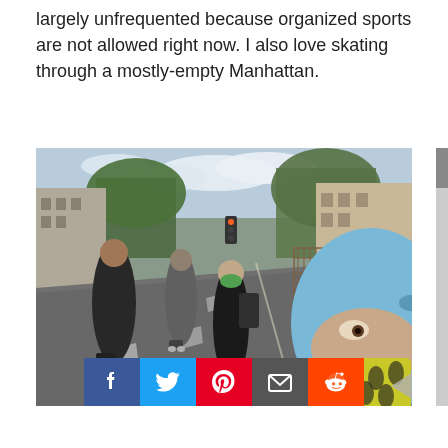largely unfrequented because organized sports are not allowed right now. I also love skating through a mostly-empty Manhattan.
[Figure (photo): Group selfie photo of inline skaters wearing masks and helmets on a mostly-empty Manhattan street. The person taking the selfie is in the foreground wearing a blue helmet and a yellow/black patterned face mask. Three other skaters are visible in the background on the street.]